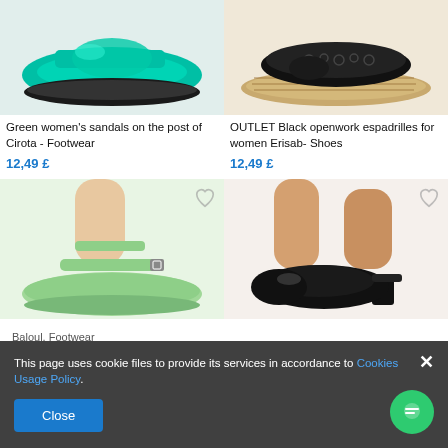[Figure (photo): Green/teal women's platform sandals on white background, top view showing feet]
[Figure (photo): Black openwork espadrilles with woven rope platform sole on beige background]
Green women's sandals on the post of Cirota - Footwear
12,49 £
OUTLET Black openwork espadrilles for women Erisab- Shoes
12,49 £
[Figure (photo): Light mint/green women's platform sandals with ankle strap and buckle, model wearing them on white background]
[Figure (photo): Black leather women's slingback block heel sandals, model wearing them]
Baloul. Footwear
This page uses cookie files to provide its services in accordance to Cookies Usage Policy.
Close